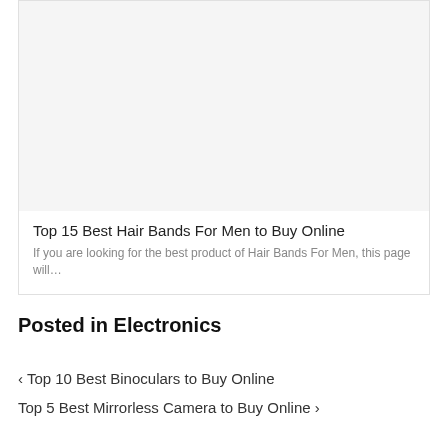[Figure (photo): Blank/white image area inside a card, representing a product image placeholder for Hair Bands For Men article]
Top 15 Best Hair Bands For Men to Buy Online
If you are looking for the best product of Hair Bands For Men, this page will…
Posted in Electronics
‹ Top 10 Best Binoculars to Buy Online
Top 5 Best Mirrorless Camera to Buy Online ›